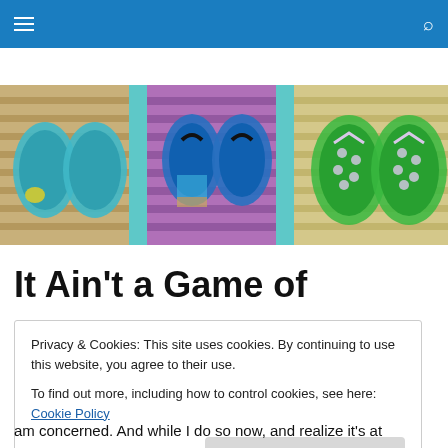Navigation bar with hamburger menu and search icon
[Figure (photo): Three panels showing decorative wooden boards with painted flip-flop/sandal artwork. Left panel: tan wood slats with teal/blue painted flip flops. Center panel: purple wood slats with blue painted flip flops, teal separator on sides. Right panel: light tan wood slats with green polka-dot painted flip flops.]
It Ain't a Game of
Privacy & Cookies: This site uses cookies. By continuing to use this website, you agree to their use.
To find out more, including how to control cookies, see here: Cookie Policy
[Close and accept]
am concerned. And while I do so now, and realize it's at